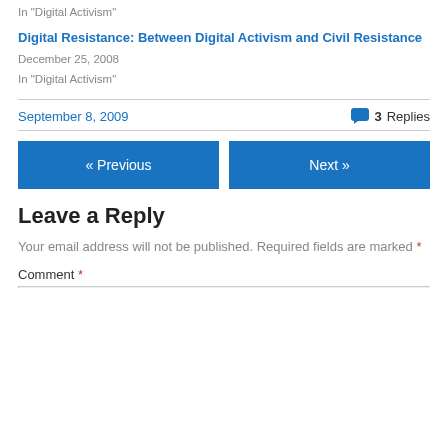In "Digital Activism"
Digital Resistance: Between Digital Activism and Civil Resistance
December 25, 2008
In "Digital Activism"
September 8, 2009 · 3 Replies
« Previous
Next »
Leave a Reply
Your email address will not be published. Required fields are marked *
Comment *